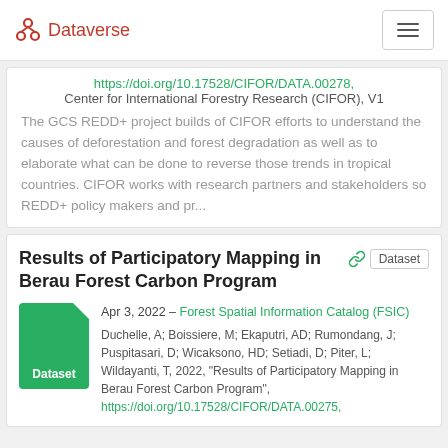Dataverse
https://doi.org/10.17528/CIFOR/DATA.00278, Center for International Forestry Research (CIFOR), V1
The GCS REDD+ project builds of CIFOR efforts to understand the causes of deforestation and forest degradation as well as to elaborate what can be done to reverse those trends in tropical countries. CIFOR works with research partners and stakeholders so REDD+ policy makers and pr...
Results of Participatory Mapping in Berau Forest Carbon Program
Apr 3, 2022 – Forest Spatial Information Catalog (FSIC)
Duchelle, A; Boissiere, M; Ekaputri, AD; Rumondang, J; Puspitasari, D; Wicaksono, HD; Setiadi, D; Piter, L; Wildayanti, T, 2022, "Results of Participatory Mapping in Berau Forest Carbon Program", https://doi.org/10.17528/CIFOR/DATA.00275,